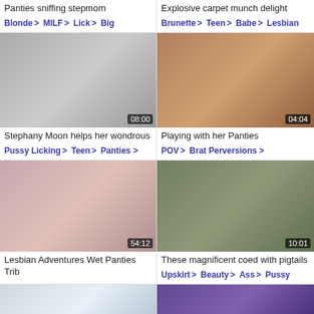Panties sniffing stepmom
Blonde > MILF > Lick > Big
Explosive carpet munch delight
Brunette > Teen > Babe > Lesbian
[Figure (photo): Video thumbnail showing two women, timer 08:00]
[Figure (photo): Video thumbnail showing women, timer 04:04]
Stephany Moon helps her wondrous
Pussy Licking > Teen > Panties >
Playing with her Panties
POV > Brat Perversions >
[Figure (photo): Video thumbnail close-up, timer 54:12]
[Figure (photo): Video thumbnail showing two women outdoors, timer 10:01]
Lesbian Adventures Wet Panties Trib
These magnificent coed with pigtails
Upskirt > Beauty > Ass > Pussy
[Figure (photo): Video thumbnail partial, timer 11:14]
[Figure (photo): Video thumbnail partial, timer 01:08]